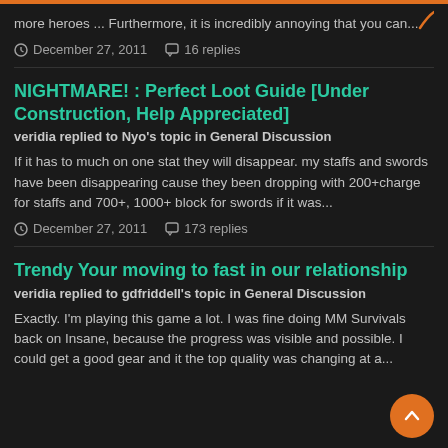more heroes ... Furthermore, it is incredibly annoying that you can...
December 27, 2011   16 replies
NIGHTMARE! : Perfect Loot Guide [Under Construction, Help Appreciated]
veridia replied to Nyo's topic in General Discussion
If it has to much on one stat they will disappear. my staffs and swords have been disappearing cause they been dropping with 200+charge for staffs and 700+, 1000+ block for swords if it was...
December 27, 2011   173 replies
Trendy Your moving to fast in our relationship
veridia replied to gdfriddell's topic in General Discussion
Exactly. I'm playing this game a lot. I was fine doing MM Survivals back on Insane, because the progress was visible and possible. I could get a good gear and it the top quality was changing at a...